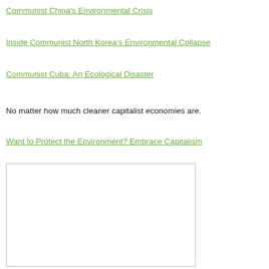Communist China's Environmental Crisis
Inside Communist North Korea's Environmental Collapse
Communist Cuba: An Ecological Disaster
No matter how much cleaner capitalist economies are.
Want to Protect the Environment? Embrace Capitalism
[Figure (other): A white rectangular image box with a gray border, mostly blank/white content area]